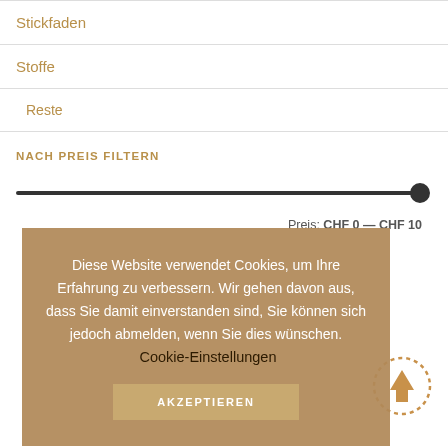Stickfaden
Stoffe
Reste
NACH PREIS FILTERN
[Figure (other): Price range slider showing CHF 0 to CHF 10]
Preis: CHF 0 — CHF 10
Diese Website verwendet Cookies, um Ihre Erfahrung zu verbessern. Wir gehen davon aus, dass Sie damit einverstanden sind, Sie können sich jedoch abmelden, wenn Sie dies wünschen. Cookie-Einstellungen AKZEPTIEREN
[Figure (other): Scroll-to-top button with upward arrow in dotted circle]